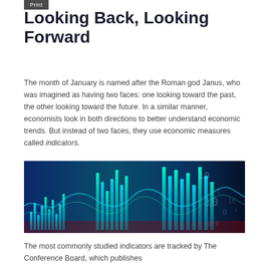Print
Looking Back, Looking Forward
The month of January is named after the Roman god Janus, who was imagined as having two faces: one looking toward the past, the other looking toward the future. In a similar manner, economists look in both directions to better understand economic trends. But instead of two faces, they use economic measures called indicators.
[Figure (photo): A financial/stock market themed image showing glowing cyan/teal bar chart candles and digital wave lines against a dark blue background with digital numbers overlaid.]
The most commonly studied indicators are tracked by The Conference Board, which publishes